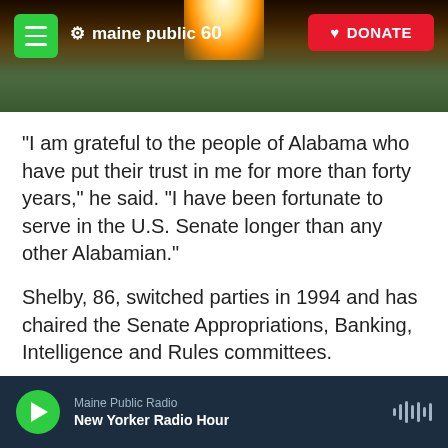[Figure (screenshot): Maine Public 60th anniversary logo on a scenic landscape banner with sunrise/sunset over hills, green menu button on left, red DONATE button on top right]
"I am grateful to the people of Alabama who have put their trust in me for more than forty years," he said. "I have been fortunate to serve in the U.S. Senate longer than any other Alabamian."
Shelby, 86, switched parties in 1994 and has chaired the Senate Appropriations, Banking, Intelligence and Rules committees.
"In these positions of leadership, I have strived to influence legislation that will have a lasting impact – creating the conditions for growth and
Maine Public Radio — New Yorker Radio Hour